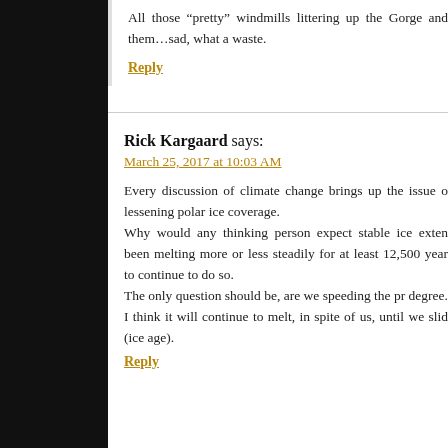All those “pretty” windmills littering up the Gorge and them…sad, what a waste.
Reply
Rick Kargaard says:
March 25, 2017 at 10:03 AM
Every discussion of climate change brings up the issue of lessening polar ice coverage.
Why would any thinking person expect stable ice extent? It been melting more or less steadily for at least 12,500 years to continue to do so.
The only question should be, are we speeding the process to some degree.
I think it will continue to melt, in spite of us, until we slide into (ice age).
Reply